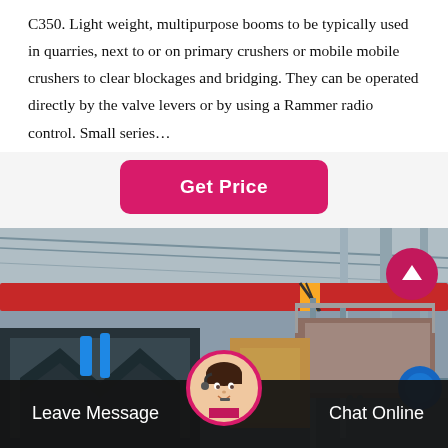C350. Light weight, multipurpose booms to be typically used in quarries, next to or on primary crushers or mobile mobile crushers to clear blockages and bridging. They can be operated directly by the valve levers or by using a Rammer radio control. Small series…
Get Price
[Figure (photo): Industrial factory interior showing heavy machinery including a mobile crusher/construction equipment with a large red overhead crane beam visible in the background of a steel-framed warehouse]
Leave Message
Chat Online